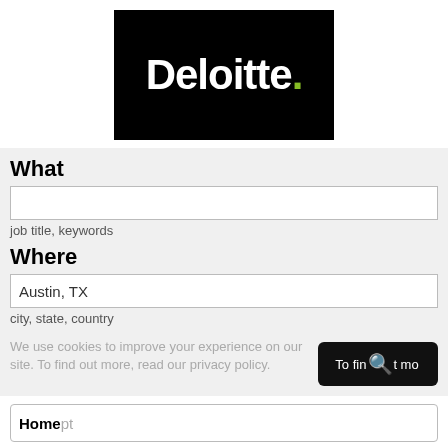[Figure (logo): Deloitte logo: white bold text 'Deloitte.' with a green dot on black background]
What
job title, keywords
Where
Austin, TX
city, state, country
We use cookies to improve your experience on our site. To find out more, read our privacy policy.
Home